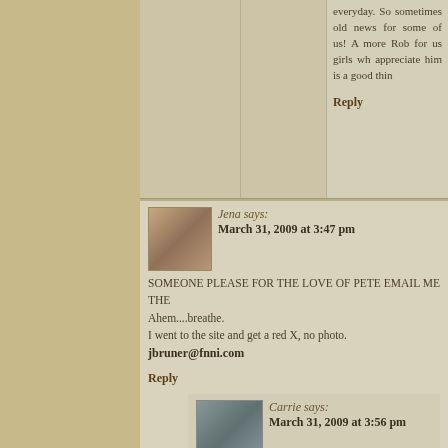everyday. So sometimes old news for some of us! And more Rob for us girls who appreciate him is a good thing.
Reply
[Figure (photo): Avatar photo of Jena, a smiling girl]
Jena says:
March 31, 2009 at 3:47 pm
SOMEONE PLEASE FOR THE LOVE OF PETE EMAIL ME THE
Ahem....breathe.
I went to the site and get a red X, no photo.
jbruner@fnni.com
Reply
[Figure (photo): Avatar photo of Carrie]
Carrie says:
March 31, 2009 at 3:56 pm
Done.
Reply
[Figure (photo): Avatar photo of Genevieve, red-haired woman]
Genevieve says:
March 31, 2009 at 3:56 pm
Just sent it to you Jena <3
Reply
[Figure (photo): Partial avatar photo at bottom]